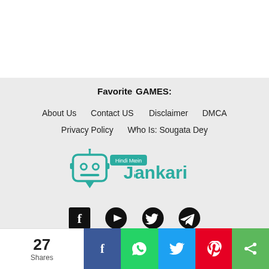Favorite GAMES:
About Us   Contact US   Disclaimer   DMCA
Privacy Policy   Who Is: Sougata Dey
[Figure (logo): Hindi Mein Jankari logo with robot face icon and teal text]
[Figure (illustration): Social media icons: Facebook, YouTube, Twitter, Telegram]
About Us   Contact US   Disclaimer   DMCA
27 Shares — Share bar with Facebook, WhatsApp, Twitter, Pinterest, Share buttons